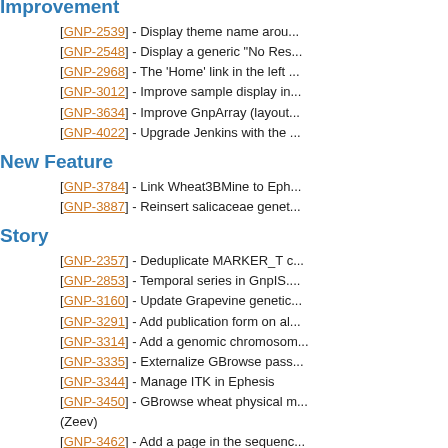Improvement
[GNP-2539] - Display theme name arou...
[GNP-2548] - Display a generic "No Res...
[GNP-2968] - The 'Home' link in the left ...
[GNP-3012] - Improve sample display in...
[GNP-3634] - Improve GnpArray (layout...
[GNP-4022] - Upgrade Jenkins with the ...
New Feature
[GNP-3784] - Link Wheat3BMine to Eph...
[GNP-3887] - Reinsert salicaceae genet...
Story
[GNP-2357] - Deduplicate MARKER_T c...
[GNP-2853] - Temporal series in GnpIS....
[GNP-3160] - Update Grapevine genetic...
[GNP-3291] - Add publication form on al...
[GNP-3314] - Add a genomic chromosom...
[GNP-3335] - Externalize GBrowse pass...
[GNP-3344] - Manage ITK in Ephesis
[GNP-3450] - GBrowse wheat physical m... (Zeev)
[GNP-3462] - Add a page in the sequenc...
[GNP-3463] - Technology watch on raw ...
[GNP-3610] - Integration of 1 matrix of g...
[GNP-3624] - Migration to VM: GnpIS pr...
[GNP-3645] - Heavy memory usage in T...
[GNP-3650] - Migration to VM: GnpIS de...
[GNP-3661] - BreedWheat pheno 2013
[GNP-3681] - Ontology : template & widc...
[GNP-3688] - Release 15.2
[GNP-3700] - Release Phy...